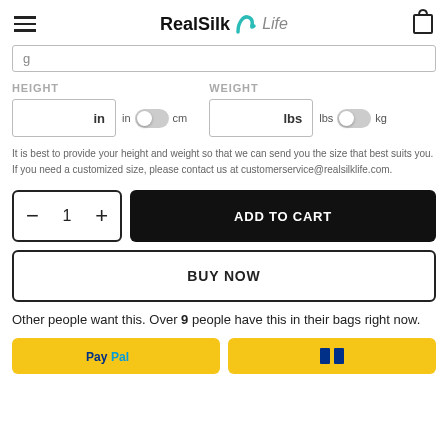RealSilk Life
HEIGHT   WEIGHT
in  in  cm    lbs  lbs  kg
It is best to provide your height and weight so that we can send you the size that best suits you. If you need a customized size, please contact us at customerservice@realsilklife.com.
- 1 +   ADD TO CART
BUY NOW
Other people want this. Over 9 people have this in their bags right now.